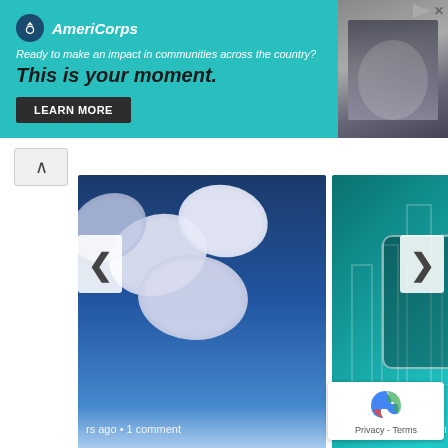[Figure (screenshot): AmeriCorps advertisement banner with teal background. Logo with circle icon and organization name. Text: 'Ready to make an impact in communities across the country? This is your moment.' with LEARN MORE button. Right side shows partial photo of a person.]
[Figure (screenshot): Carousel of article cards. Left card: 'Aspirin: Great Immediate Treatment for ...' with pills image background, metadata 'rs ago • 1 comment'. Right card: 'Twitter's Periscope Celebrates ...' with teal background and phone graphic, metadata '6 years ago • 1 comm'. Navigation arrows on left and right sides.]
Sponsored
[Figure (photo): Photo of an outdoor wall lantern light fixture mounted on a textured stone/stucco wall, shown from a low angle looking up.]